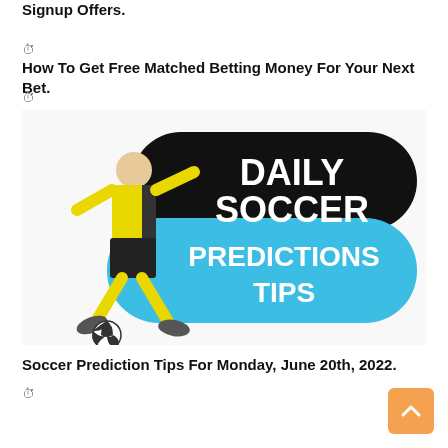Signup Offers.
🕐
How To Get Free Matched Betting Money For Your Next Bet.
🕐
[Figure (illustration): A soccer player in yellow kit kicking a ball, beside two pill-shaped badges: black one reading 'DAILY SOCCER' and blue one reading 'PREDICTIONS TIPS']
Soccer Prediction Tips For Monday, June 20th, 2022.
🕐